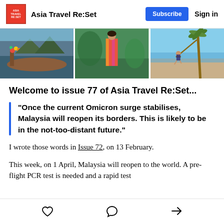Asia Travel Re:Set  Subscribe  Sign in
[Figure (photo): Three travel photos side by side: a decorated long-tail boat, a woman in colorful dress walking through greenery, and a person on a swing near a palm tree by the beach.]
Welcome to issue 77 of Asia Travel Re:Set...
“Once the current Omicron surge stabilises, Malaysia will reopen its borders. This is likely to be in the not-too-distant future.”
I wrote those words in Issue 72, on 13 February.
This week, on 1 April, Malaysia will reopen to the world. A pre-flight PCR test is needed and a rapid test within 2 days of arrival. There are also more d…
❤ (like)  💬 (comment)  ↗ (share)